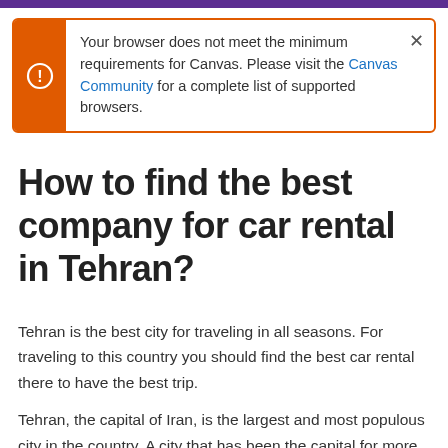[Figure (screenshot): Browser compatibility warning banner with orange left panel containing a circle-exclamation icon, white background with text about browser requirements for Canvas, and a close (×) button.]
How to find the best company for car rental in Tehran?
Tehran is the best city for traveling in all seasons. For traveling to this country you should find the best car rental there to have the best trip.
Tehran, the capital of Iran, is the largest and most populous city in the country. A city that has been the capital for more than 200 years and where most important administrative, executive and political decisions are made. With an area of